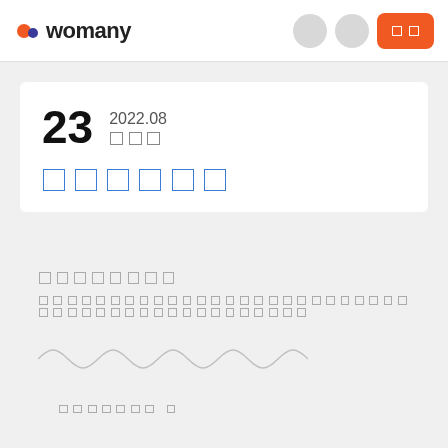womany
23  2022.08  □□□
□□□□□□
□□□□□□□□
□□□□□□□□□□□□□□□□□□□□□□□□□□□□□□□□□□□□□□□□□□□□□
[Figure (photo): Red box with illustrated cat design, appearing to be a product gift box]
□□□□□□□ □